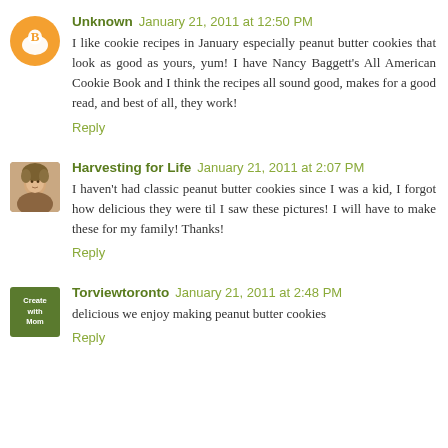Unknown  January 21, 2011 at 12:50 PM
I like cookie recipes in January especially peanut butter cookies that look as good as yours, yum! I have Nancy Baggett's All American Cookie Book and I think the recipes all sound good, makes for a good read, and best of all, they work!
Reply
Harvesting for Life  January 21, 2011 at 2:07 PM
I haven't had classic peanut butter cookies since I was a kid, I forgot how delicious they were til I saw these pictures! I will have to make these for my family! Thanks!
Reply
Torviewtoronto  January 21, 2011 at 2:48 PM
delicious we enjoy making peanut butter cookies
Reply